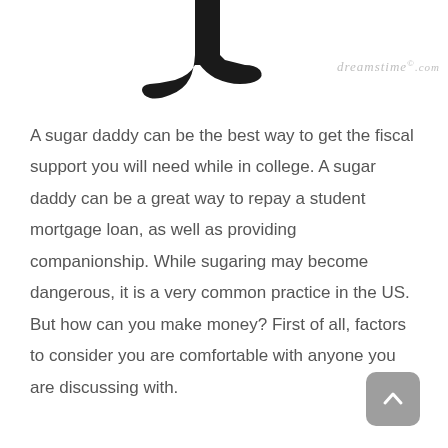[Figure (illustration): Silhouette of a human foot/ankle viewed from the side, black fill, partially cropped at top of page]
A sugar daddy can be the best way to get the fiscal support you will need while in college. A sugar daddy can be a great way to repay a student mortgage loan, as well as providing companionship. While sugaring may become dangerous, it is a very common practice in the US. But how can you make money? First of all, factors to consider you are comfortable with anyone you are discussing with.